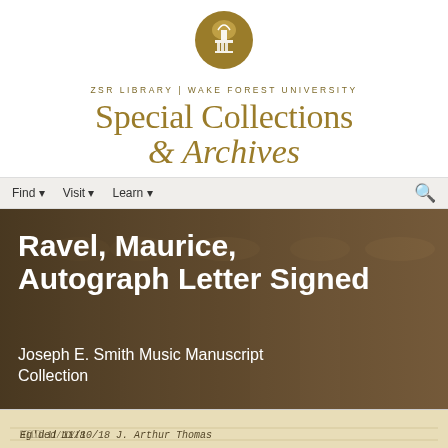[Figure (logo): ZSR Library Wake Forest University Special Collections & Archives logo with gold dome icon]
ZSR LIBRARY | WAKE FOREST UNIVERSITY
Special Collections & Archives
Find ▾   Visit ▾   Learn ▾
Ravel, Maurice, Autograph Letter Signed
Joseph E. Smith Music Manuscript Collection
[Figure (photo): Handwritten manuscript strip showing cursive text including a date 11/10/18 and signature J. Arthur Thomas]